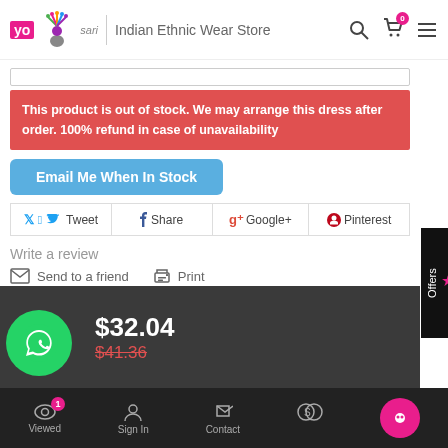yo sari — Indian Ethnic Wear Store
This product is out of stock. We may arrange this dress after order. 100% refund in case of unavailability
Email Me When In Stock
Tweet  Share  Google+  Pinterest
Write a review
Send to a friend   Print
$32.04
$41.36
Viewed 1  Sign In  Contact  Offers